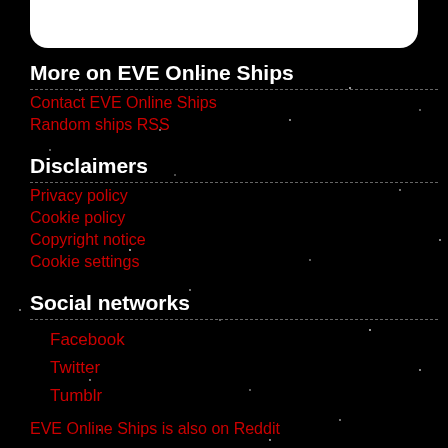More on EVE Online Ships
Contact EVE Online Ships
Random ships RSS
Disclaimers
Privacy policy
Cookie policy
Copyright notice
Cookie settings
Social networks
Facebook
Twitter
Tumblr
EVE Online Ships is also on Reddit